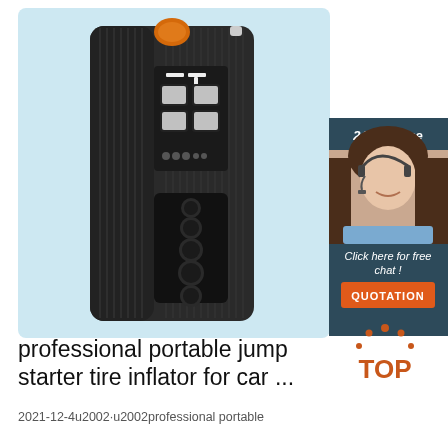[Figure (photo): Product photo of a black portable jump starter / tire inflator device with a digital display showing numbers, set against a light blue background. A customer service chat box overlay on the right shows a smiling female agent with headset, text '24/7 Online', 'Click here for free chat!', and an orange 'QUOTATION' button.]
professional portable jump starter tire inflator for car ...
2021-12-4u2002·u2002professional portable